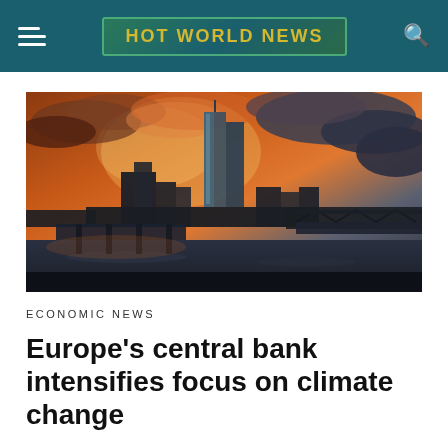HOT WORLD NEWS
[Figure (photo): Dramatic sunset skyline photograph showing the European Central Bank tower in Frankfurt, with a reddish-orange cloudy sky, city buildings silhouetted in the background, and a river with a bridge in the foreground.]
ECONOMIC NEWS
Europe's central bank intensifies focus on climate change